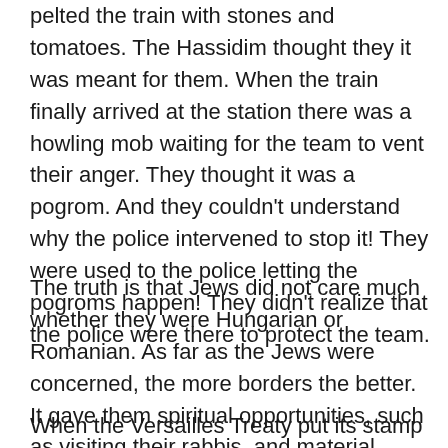pelted the train with stones and tomatoes. The Hassidim thought they it was meant for them. When the train finally arrived at the station there was a howling mob waiting for the team to vent their anger. They thought it was a pogrom. And they couldn't understand why the police intervened to stop it! They were used to the police letting the pogroms happen! They didn't realize that the police were there to protect the team.
The truth is that Jews did not care much whether they were Hungarian or Romanian. As far as the Jews were concerned, the more borders the better. It gave them spiritual opportunities, such as visiting their rabbis, and material opportunities, such as engaging in international trade. Therefore, the nationals in the country looked at the Jews as being foreigners.
When the Versailles Treaty put its stamp of approval on